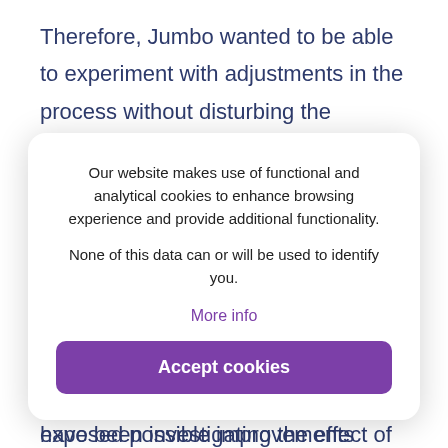Therefore, Jumbo wanted to be able to experiment with adjustments in the process without disturbing the workflow. For that purpose, they asked Pipple to construct a virtual environment representing their EFC. Within fourteen weeks, Pipple established a perfect model of reality.
Simulations
Then the simulations could start: they have been investigating the effect of using distinct product
Our website makes use of functional and analytical cookies to enhance browsing experience and provide additional functionality. None of this data can or will be used to identify you.
More info
Accept cookies
exposed possible improvements which we had never